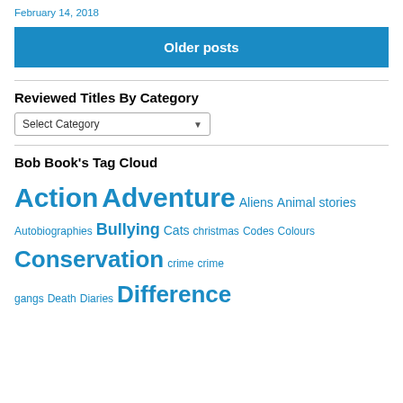February 14, 2018
Older posts
Reviewed Titles By Category
Select Category
Bob Book's Tag Cloud
Action Adventure Aliens Animal stories Autobiographies Bullying Cats christmas Codes Colours Conservation crime crime gangs Death Diaries Difference